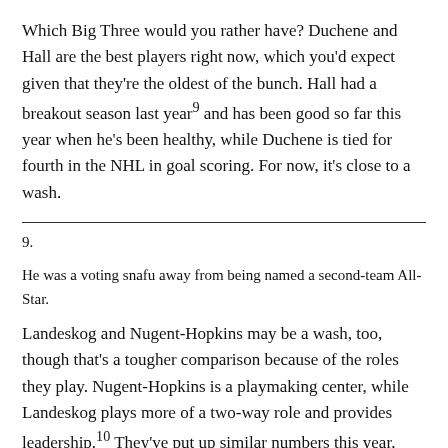Which Big Three would you rather have? Duchene and Hall are the best players right now, which you'd expect given that they're the oldest of the bunch. Hall had a breakout season last year9 and has been good so far this year when he's been healthy, while Duchene is tied for fourth in the NHL in goal scoring. For now, it's close to a wash.
9.
He was a voting snafu away from being named a second-team All-Star.
Landeskog and Nugent-Hopkins may be a wash, too, though that's a tougher comparison because of the roles they play. Nugent-Hopkins is a playmaking center, while Landeskog plays more of a two-way role and provides leadership.10 They've put up similar numbers this year, though Nugent-Hopkins's minus-13 rating is a concern if you pay attention to plus/minus.11